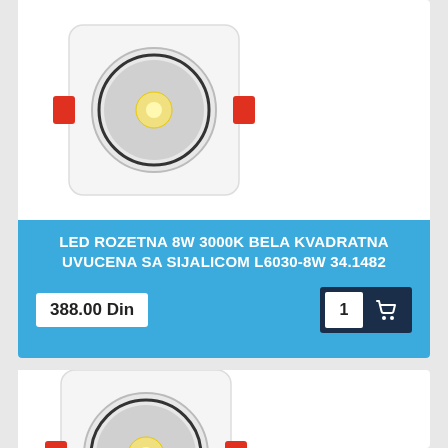[Figure (photo): LED recessed light fixture - white square housing with circular LED module and red mounting clips, viewed from above]
LED ROZETNA 8W 3000K BELA KVADRATNA UVUCENA SA SIJALICOM L6030-8W 34.1482
388.00 Din
[Figure (photo): Second LED recessed light fixture - same white square housing with circular LED module and red mounting clips, partially visible]